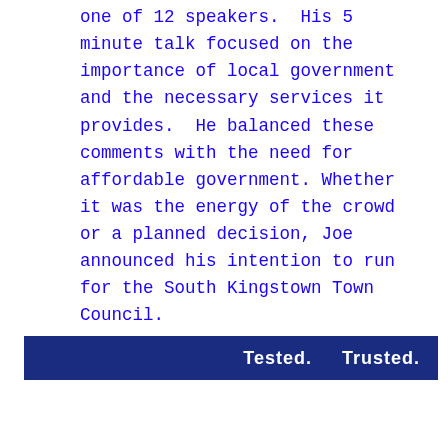one of 12 speakers.  His 5 minute talk focused on the importance of local government and the necessary services it provides.  He balanced these comments with the need for affordable government. Whether it was the energy of the crowd or a planned decision, Joe announced his intention to run for the South Kingstown Town Council.
Tested.     Trusted.